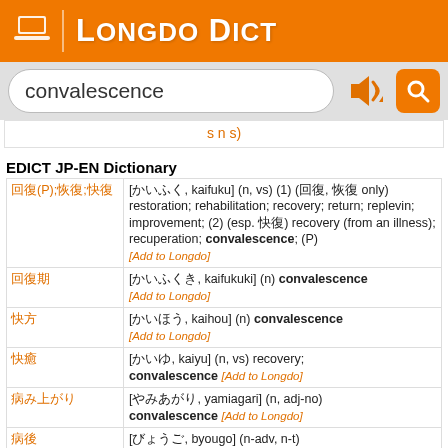Longdo Dict
convalescence (search input)
s n s)
EDICT JP-EN Dictionary
| Japanese | Definition |
| --- | --- |
| 回復(P);恢復;快復 | [かいふく, kaifuku] (n, vs) (1) (回復, 恢復 only) restoration; rehabilitation; recovery; return; replevin; improvement; (2) (esp. 快復) recovery (from an illness); recuperation; convalescence; (P) [Add to Longdo] |
| 回復期 | [かいふくき, kaifukuki] (n) convalescence [Add to Longdo] |
| 快方 | [かいほう, kaihou] (n) convalescence [Add to Longdo] |
| 快癒 | [かいゆ, kaiyu] (n, vs) recovery; convalescence [Add to Longdo] |
| 病み上がり | [やみあがり, yamiagari] (n, adj-no) convalescence [Add to Longdo] |
| 病後 | [びょうご, byougo] (n-adv, n-t) convalescence [Add to Longdo] |
| 平癒 | [へいゆ, heiyu] (n, vs) recovery; |